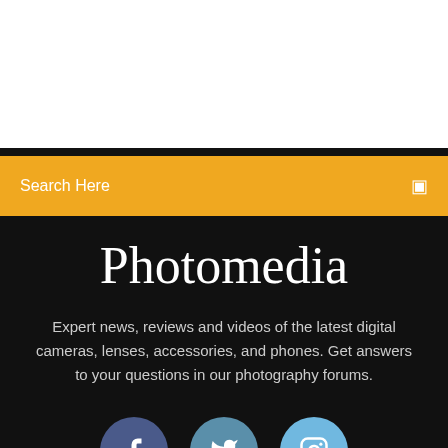Search Here
Photomedia
Expert news, reviews and videos of the latest digital cameras, lenses, accessories, and phones. Get answers to your questions in our photography forums.
[Figure (illustration): Three social media icon circles: Facebook (dark blue), Twitter (medium blue), Instagram (light blue)]